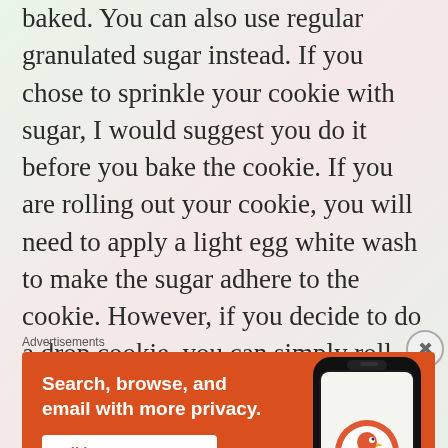baked. You can also use regular granulated sugar instead. If you chose to sprinkle your cookie with sugar, I would suggest you do it before you bake the cookie. If you are rolling out your cookie, you will need to apply a light egg white wash to make the sugar adhere to the cookie. However, if you decide to do a drop cookie, you can simply roll the dough in the sugar before you press the dough down with the bottom of a
Advertisements
[Figure (illustration): DuckDuckGo advertisement banner with orange background. Text reads: 'Search, browse, and email with more privacy. All in One Free App'. Shows a smartphone with DuckDuckGo logo and branding.]